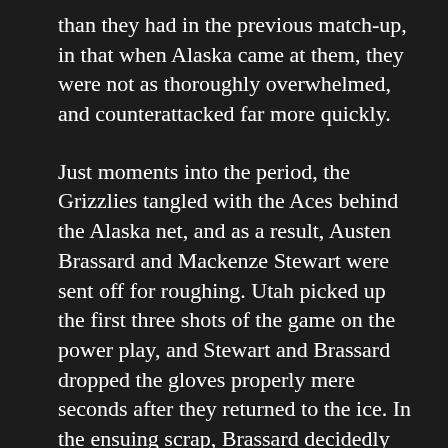than they had in the previous match-up, in that when Alaska came at them, they were not as thoroughly overwhelmed, and counterattacked far more quickly.
Just moments into the period, the Grizzlies tangled with the Aces behind the Alaska net, and as a result, Austen Brassard and Mackenze Stewart were sent off for roughing. Utah picked up the first three shots of the game on the power play, and Stewart and Brassard dropped the gloves properly mere seconds after they returned to the ice. In the ensuing scrap, Brassard decidedly got the best of the exchange, and they were both sent back to the box.
Seconds later, Nolan Descoteaux took a tripping penalty against Travis Howe, and the Grizzlies went to work on their first power play of the